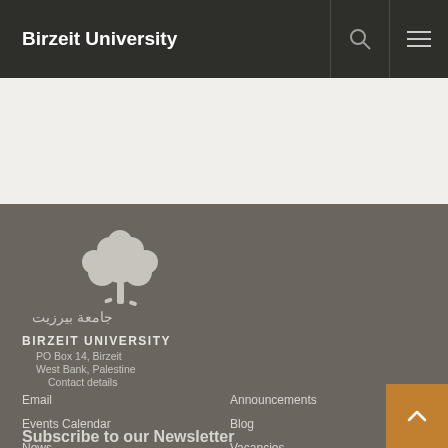Birzeit University
[Figure (logo): Birzeit University logo with Arabic calligraphy and tree illustration in white on dark gray background]
BIRZEIT UNIVERSITY
PO Box 14, Birzeit
West Bank, Palestine
Contact details
Email
Events Calendar
News
Events
Announcements
Blog
Vacancies
Tenders
Subscribe to our Newsletter